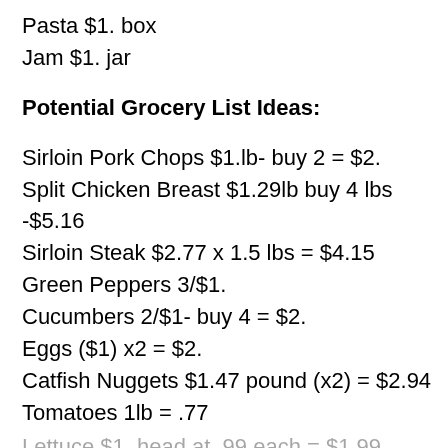Pasta $1. box
Jam $1. jar
Potential Grocery List Ideas:
Sirloin Pork Chops $1.lb- buy 2 = $2.
Split Chicken Breast $1.29lb buy 4 lbs -$5.16
Sirloin Steak $2.77 x 1.5 lbs = $4.15
Green Peppers 3/$1.
Cucumbers 2/$1- buy 4 = $2.
Eggs ($1) x2 = $2.
Catfish Nuggets $1.47 pound (x2) = $2.94
Tomatoes 1lb = .77
Lettuce $1. head at .99 each = $1.99